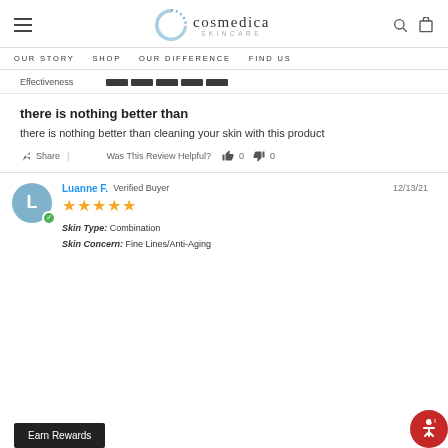cosmedica SKINCARE
OUR STORY  SHOP  OUR DIFFERENCE  FIND US
Effectiveness [rating bar]
there is nothing better than
there is nothing better than cleaning your skin with this product
Share | Was This Review Helpful? 0 0
Luanne F. Verified Buyer  12/13/21
★★★★★
Skin Type: Combination
Skin Concern: Fine Lines/Anti-Aging
Earn Rewards